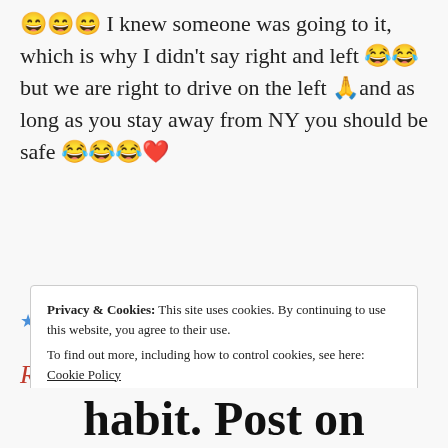😄😄😄 I knew someone was going to it, which is why I didn't say right and left 😂😂 but we are right to drive on the left 🙏and as long as you stay away from NY you should be safe 😂😂😂❤️
★ Liked by 2 people
Reply
Privacy & Cookies: This site uses cookies. By continuing to use this website, you agree to their use.
To find out more, including how to control cookies, see here: Cookie Policy
Close and accept
habit. Post on